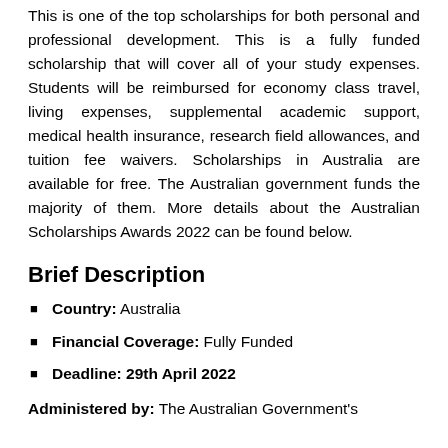This is one of the top scholarships for both personal and professional development. This is a fully funded scholarship that will cover all of your study expenses. Students will be reimbursed for economy class travel, living expenses, supplemental academic support, medical health insurance, research field allowances, and tuition fee waivers. Scholarships in Australia are available for free. The Australian government funds the majority of them. More details about the Australian Scholarships Awards 2022 can be found below.
Brief Description
Country: Australia
Financial Coverage: Fully Funded
Deadline: 29th April 2022
Administered by: The Australian Government's